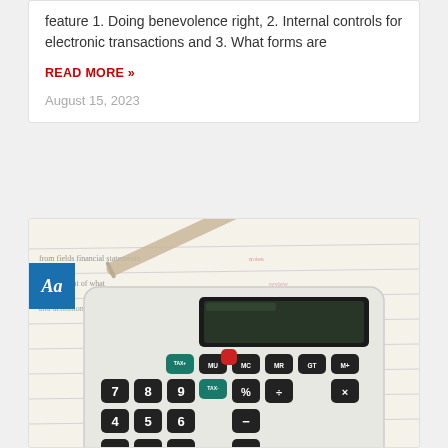feature 1. Doing benevolence right, 2. Internal controls for electronic transactions and 3. What forms are
READ MORE »
August 15, 2023
[Figure (photo): Close-up photo of a white calculator with black keys on top of handwritten ledger paper, with a pen in the background. A blue badge with 'Aa' appears on the left side.]